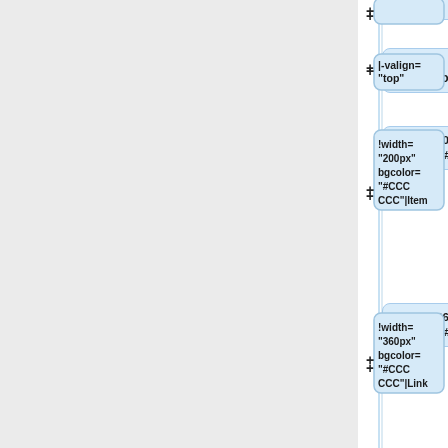[Figure (flowchart): A flowchart/tree diagram showing wiki markup nodes. Left panel is gray/empty. Right side shows a vertical sequence of rounded blue boxes containing wiki markup code snippets: '|-valign="top"', '!width="200px" bgcolor="#CCCCCC"|Item', '!width="360px" bgcolor="#CCCCCC"|Link', '!width="365px" bgcolor="#CCCCCC"|Description', an empty box, '|-valign="top"', '|""GEOS-Chem website""', and '|'. Each box is preceded by a '+' symbol on the left.]